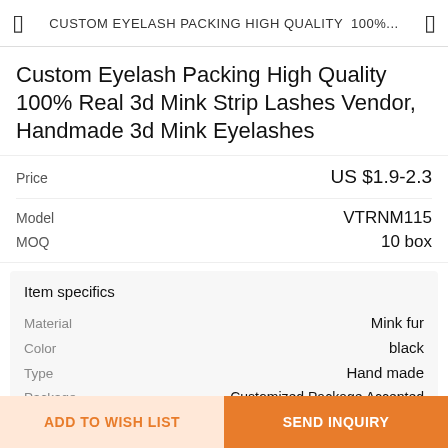CUSTOM EYELASH PACKING HIGH QUALITY  100%...
Custom Eyelash Packing High Quality 100% Real 3d Mink Strip Lashes Vendor, Handmade 3d Mink Eyelashes
|  |  |
| --- | --- |
| Price | US $1.9-2.3 |
| Model | VTRNM115 |
| MOQ | 10 box |
Item specifics
|  |  |
| --- | --- |
| Material | Mink fur |
| Color | black |
| Type | Hand made |
| Package | Customized Package Accepted |
| Service | Custom logo |
VIEW MORE
ADD TO WISH LIST   SEND INQUIRY